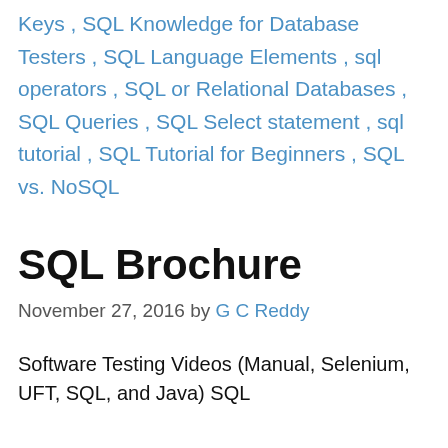Keys , SQL Knowledge for Database Testers , SQL Language Elements , sql operators , SQL or Relational Databases , SQL Queries , SQL Select statement , sql tutorial , SQL Tutorial for Beginners , SQL vs. NoSQL
SQL Brochure
November 27, 2016 by G C Reddy
Software Testing Videos (Manual, Selenium, UFT, SQL, and Java) SQL